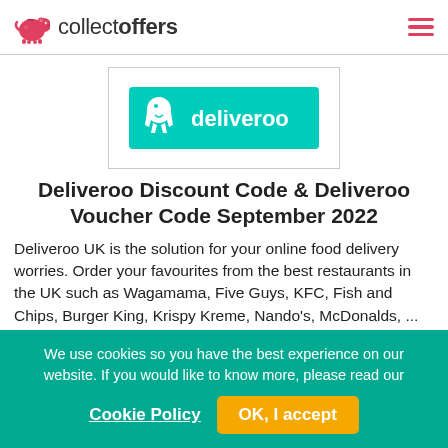collectoffers
[Figure (logo): Deliveroo logo — teal background with white kangaroo icon and 'deliveroo' wordmark in white]
Deliveroo Discount Code & Deliveroo Voucher Code September 2022
Deliveroo UK is the solution for your online food delivery worries. Order your favourites from the best restaurants in the UK such as Wagamama, Five Guys, KFC, Fish and Chips, Burger King, Krispy Kreme, Nando's, McDonalds, ...
We use cookies so you have the best experience on our website. If you would like to know more, please read our Cookie Policy
OK, I accept